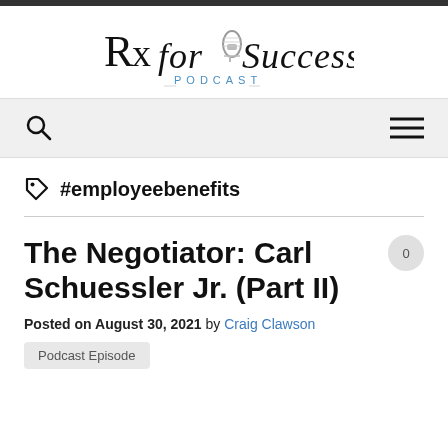[Figure (logo): Rx for Success Podcast logo with microphone graphic and script/serif lettering]
Navigation bar with search icon and hamburger menu
#employeebenefits
The Negotiator: Carl Schuessler Jr. (Part II)
Posted on August 30, 2021 by Craig Clawson
Podcast Episode